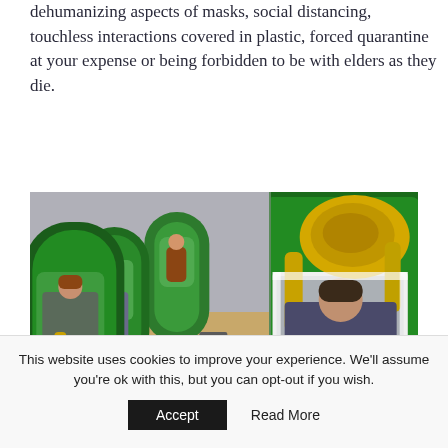dehumanizing aspects of masks, social distancing, touchless interactions covered in plastic, forced quarantine at your expense or being forbidden to be with elders as they die.
[Figure (photo): Two photos side by side showing students inside green pop-up isolation tents playing musical instruments (saxophone and tuba/sousaphone) during COVID-19 pandemic music class.]
This website uses cookies to improve your experience. We'll assume you're ok with this, but you can opt-out if you wish.